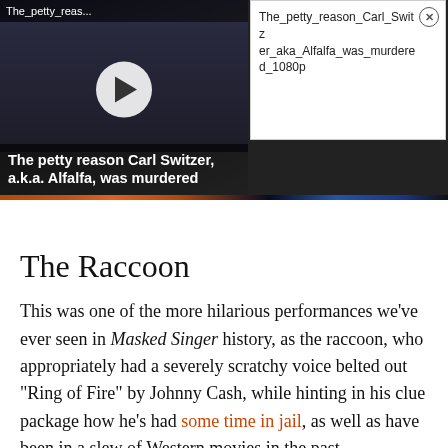[Figure (screenshot): Video thumbnail showing black and white image of people with play button overlay. Title bar reads 'The_petty_reas...' Caption reads 'The petty reason Carl Switzer, a.k.a. Alfalfa, was murdered']
The_petty_reason_Carl_Switzer_aka_Alfalfa_was_murdered_1080p
[Figure (screenshot): FOX network banner strip at bottom of media area]
The Raccoon
This was one of the more hilarious performances we’ve ever seen in Masked Singer history, as the raccoon, who appropriately had a severely scratchy voice belted out “Ring of Fire” by Johnny Cash, while hinting in his clue package how he’s had some time in jail, as well as have been in a slew of Western movies in the past.